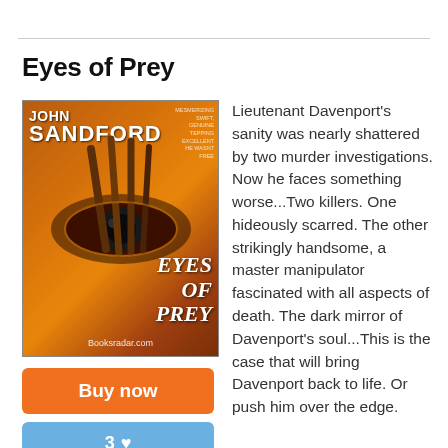Eyes of Prey
[Figure (illustration): Book cover for 'Eyes of Prey' by John Sandford, showing a dramatic illustration with an eye, dark orange and brown tones, with the text 'Eyes of Prey' and author name 'John Sandford'. Booksradar.com watermark at bottom.]
Lieutenant Davenport's sanity was nearly shattered by two murder investigations. Now he faces something worse...Two killers. One hideously scarred. The other strikingly handsome, a master manipulator fascinated with all aspects of death. The dark mirror of Davenport's soul...This is the case that will bring Davenport back to life. Or push him over the edge.
Buy now
3 ♥